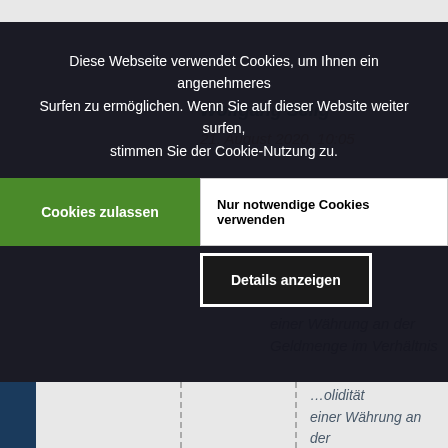Diese Webseite verwendet Cookies, um Ihnen ein angenehmeres Surfen zu ermöglichen. Wenn Sie auf dieser Website weiter surfen, stimmen Sie der Cookie-Nutzung zu.
Cookies zulassen
Nur notwendige Cookies verwenden
Details anzeigen
Wolfgang Selig
21. August 2020, 10:05
...olidität einer Währung an der Geldmenge im Verhältnis zum Bruttoinlandsprodukt. Und die breiten Geldmengen M 2 und M 3 steigen in den Industriestaaten gerade ziemlich an, weil m.E. die angeblich so mächtigen Zentralbanken in Wirklichkeit ihre Macht an die allgemeine Politik abgegeben haben, denen